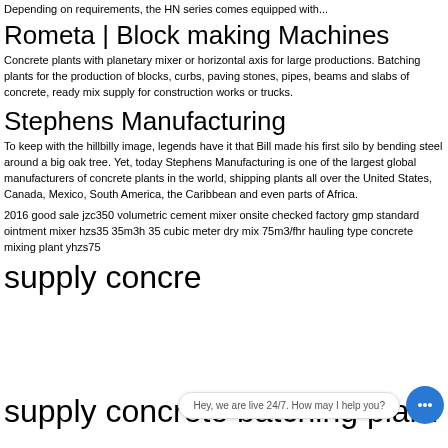Depending on requirements, the HN series comes equipped with...
Rometa | Block making Machines
Concrete plants with planetary mixer or horizontal axis for large productions. Batching plants for the production of blocks, curbs, paving stones, pipes, beams and slabs of concrete, ready mix supply for construction works or trucks.
Stephens Manufacturing
To keep with the hillbilly image, legends have it that Bill made his first silo by bending steel around a big oak tree. Yet, today Stephens Manufacturing is one of the largest global manufacturers of concrete plants in the world, shipping plants all over the United States, Canada, Mexico, South America, the Caribbean and even parts of Africa.
2016 good sale jzc350 volumetric cement mixer onsite checked factory gmp standard ointment mixer hzs35 35m3h 35 cubic meter dry mix 75m3/fhr hauling type concrete mixing plant yhzs75
supply concrete batching plant